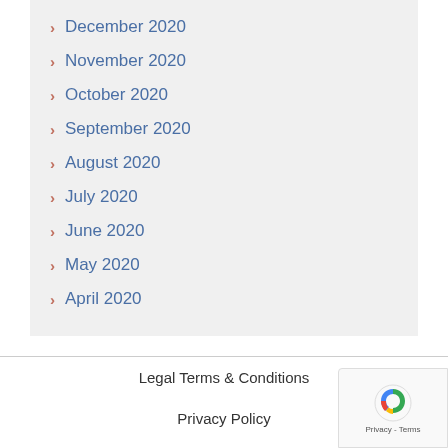December 2020
November 2020
October 2020
September 2020
August 2020
July 2020
June 2020
May 2020
April 2020
Legal Terms & Conditions
Privacy Policy
CA Privacy Policy
Ad Choices